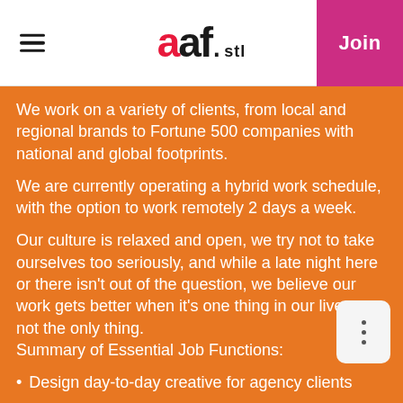aaf.stl — Join
We work on a variety of clients, from local and regional brands to Fortune 500 companies with national and global footprints.
We are currently operating a hybrid work schedule, with the option to work remotely 2 days a week.
Our culture is relaxed and open, we try not to take ourselves too seriously, and while a late night here or there isn't out of the question, we believe our work gets better when it's one thing in our lives—not the only thing.
Summary of Essential Job Functions:
Design day-to-day creative for agency clients